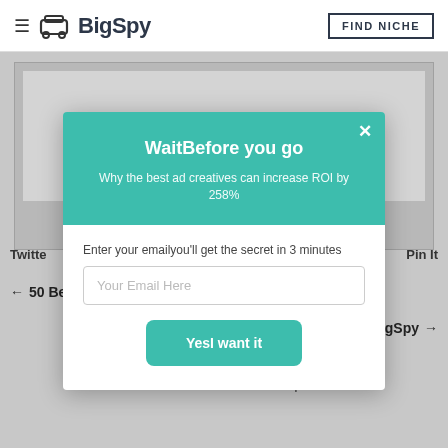BigSpy | FIND NICHE
[Figure (screenshot): BigSpy website popup modal with teal header 'Wait Before you go!' and email capture form]
Wait⁠Before you go⁠
Why the best ad creatives can increase ROI by 258%⁠
Enter your email⁠you'll get the secret in 3 minutes
Your Email Here
Yes⁠I want it⁠
Twitte
Pin It
← 50 Best Auto Ad Images in 2020 - BigSpy
50 Best App Store Ad Images in 2020 - BigSpy →
Related articles to this post